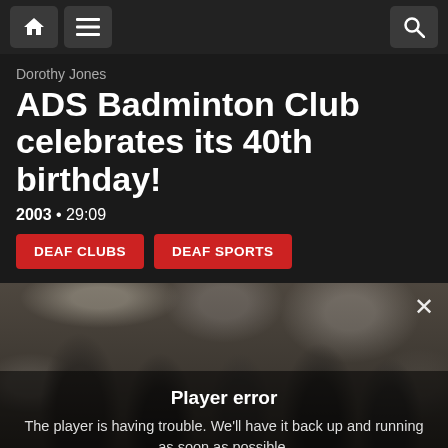Navigation bar with home, menu, and search icons
Dorothy Jones
ADS Badminton Club celebrates its 40th birthday!
2003 • 29:09
DEAF CLUBS
DEAF SPORTS
[Figure (photo): Group of people celebrating indoors with hands raised, dimly lit room with windows in background. Player error overlay shown: 'Player error — The player is having trouble. We'll have it back up and running as soon as possible.']